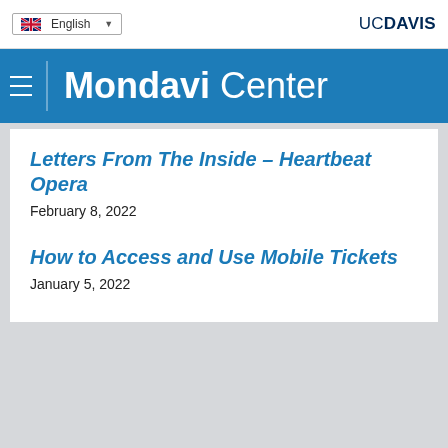English | UC DAVIS
Mondavi Center
Letters From The Inside – Heartbeat Opera
February 8, 2022
How to Access and Use Mobile Tickets
January 5, 2022